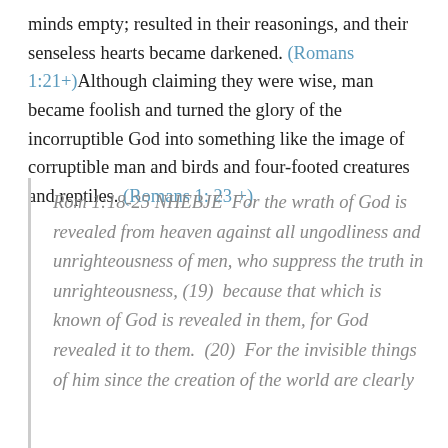...minds empty; resulted in their reasonings, and their senseless hearts became darkened. (Romans 1:21+)Although claiming they were wise, man became foolish and turned the glory of the incorruptible God into something like the image of corruptible man and birds and four-footed creatures and reptiles. (Romans 1: 23 +)
Rom 1:18-25 NHEBJE  For the wrath of God is revealed from heaven against all ungodliness and unrighteousness of men, who suppress the truth in unrighteousness, (19)  because that which is known of God is revealed in them, for God revealed it to them.  (20)  For the invisible things of him since the creation of the world are clearly